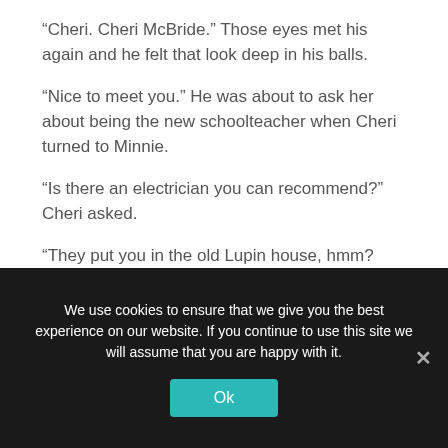“Cheri. Cheri McBride.” Those eyes met his again and he felt that look deep in his balls.
“Nice to meet you.” He was about to ask her about being the new schoolteacher when Cheri turned to Minnie.
“Is there an electrician you can recommend?” Cheri asked.
“They put you in the old Lupin house, hmm? Paulo, honey. He’s the best. Number’s right there on the board.” Minnie’s eyes met Josh’s, challenging. Everyone knew about him and that fucking bastard, Paulo, which was embarrassing enough. To have Minnie give the new lady that asshat’s number, right there in front of him…
We use cookies to ensure that we give you the best experience on our website. If you continue to use this site we will assume that you are happy with it.